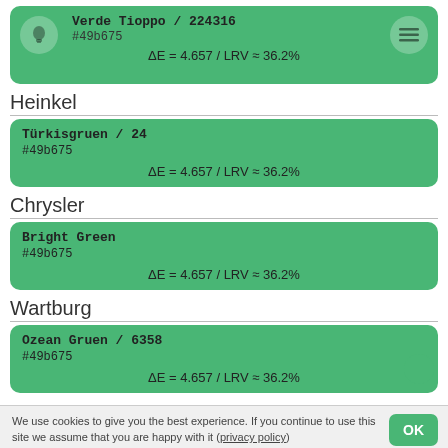[Figure (infographic): Color card for Verde Tioppo / 224316 with hex #49b675, showing ΔE = 4.657 / LRV ≈ 36.2%, with lightbulb and menu icons]
Heinkel
[Figure (infographic): Color card for Türkisgruen / 24 with hex #49b675, showing ΔE = 4.657 / LRV ≈ 36.2%]
Chrysler
[Figure (infographic): Color card for Bright Green with hex #49b675, showing ΔE = 4.657 / LRV ≈ 36.2%]
Wartburg
[Figure (infographic): Color card for Ozean Gruen / 6358 with hex #49b675, showing ΔE = 4.657 / LRV ≈ 36.2%]
We use cookies to give you the best experience. If you continue to use this site we assume that you are happy with it (privacy policy)